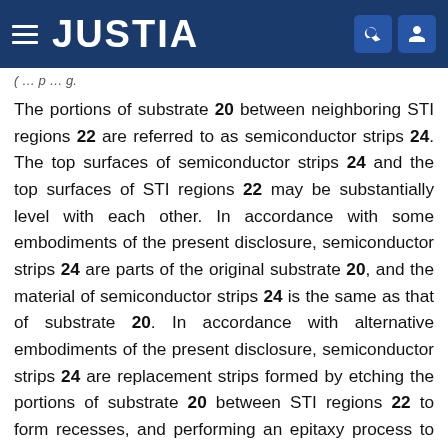JUSTIA
The portions of substrate 20 between neighboring STI regions 22 are referred to as semiconductor strips 24. The top surfaces of semiconductor strips 24 and the top surfaces of STI regions 22 may be substantially level with each other. In accordance with some embodiments of the present disclosure, semiconductor strips 24 are parts of the original substrate 20, and the material of semiconductor strips 24 is the same as that of substrate 20. In accordance with alternative embodiments of the present disclosure, semiconductor strips 24 are replacement strips formed by etching the portions of substrate 20 between STI regions 22 to form recesses, and performing an epitaxy process to regrow another semiconductor material in the recesses. Accordingly, semiconductor strips 24 are formed of a semiconductor material different from that of substrate 20. In